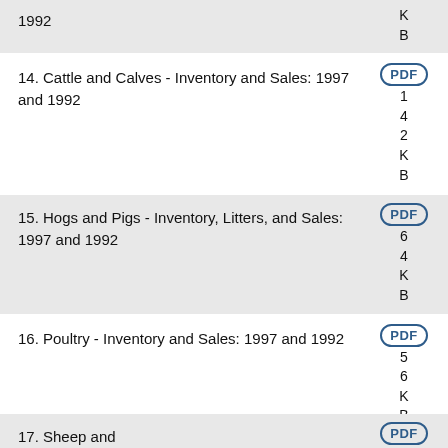1992
14. Cattle and Calves - Inventory and Sales: 1997 and 1992
15. Hogs and Pigs - Inventory, Litters, and Sales: 1997 and 1992
16. Poultry - Inventory and Sales: 1997 and 1992
17. Sheep and